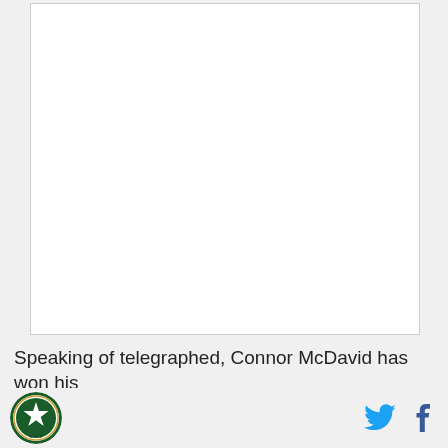[Figure (photo): Large white/blank image placeholder area with border]
Speaking of telegraphed, Connor McDavid has won his
[Figure (logo): Circular sports team logo with green star and border]
[Figure (other): Twitter bird icon (blue) and Facebook f icon (dark blue) social sharing buttons]